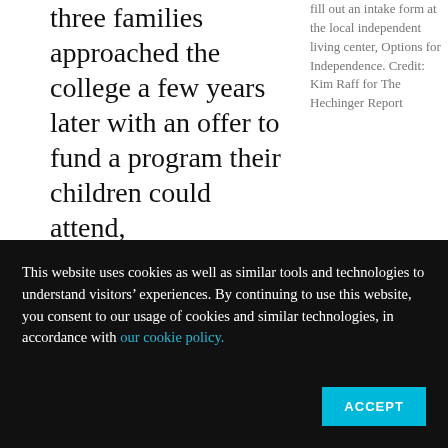three families approached the college a few years later with an offer to fund a program their children could attend, administrators said yes. The first cohort of eight students enrolled in 2014.
fill out an intake form at the local independent living center, Options for Independence. Credit: Kim Raff for The Hechinger Report
Nationally, over the past decade, the number of
This website uses cookies as well as similar tools and technologies to understand visitors' experiences. By continuing to use this website, you consent to our usage of cookies and similar technologies, in accordance with our cookie policy.